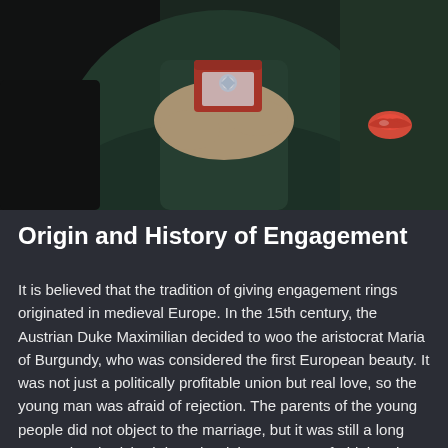[Figure (photo): Person in dark green jacket holding a red ring box with a diamond ring inside, photographed from shoulders down. A red lips icon/watermark visible in lower right of photo.]
Origin and History of Engagement
It is believed that the tradition of giving engagement rings originated in medieval Europe. In the 15th century, the Austrian Duke Maximilian decided to woo the aristocrat Maria of Burgundy, who was considered the first European beauty. It was not just a politically profitable union but real love, so the young man was afraid of rejection. The parents of the young people did not object to the marriage, but it was still a long way to the cherished day. The duke was very afraid that the bride would fall in love with another, so he decided to send her a diamond ring. And dating after 30 for men even then was a risky affair. That is how the tradition of making a proposal by presenting an engagement ring was born. The engagement ring is the one that the groom gives during the proposal, even today, usually, it is worn until the wedding day, after which the